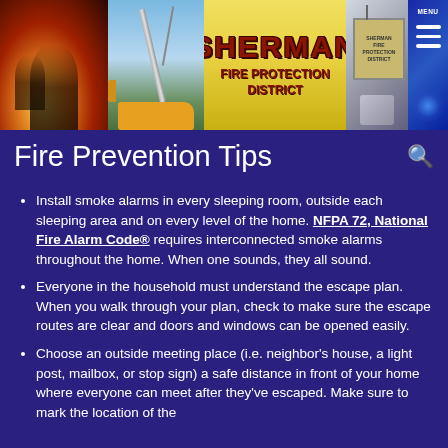[Figure (photo): Sherman Fire Protection District website header banner with fire image, crane truck, gold Sherman logo, sign board, and blue menu panel]
Fire Prevention Tips
Install smoke alarms in every sleeping room, outside each sleeping area and on every level of the home. NFPA 72, National Fire Alarm Code® requires interconnected smoke alarms throughout the home. When one sounds, they all sound.
Everyone in the household must understand the escape plan. When you walk through your plan, check to make sure the escape routes are clear and doors and windows can be opened easily.
Choose an outside meeting place (i.e. neighbor's house, a light post, mailbox, or stop sign) a safe distance in front of your home where everyone can meet after they've escaped. Make sure to mark the location of the